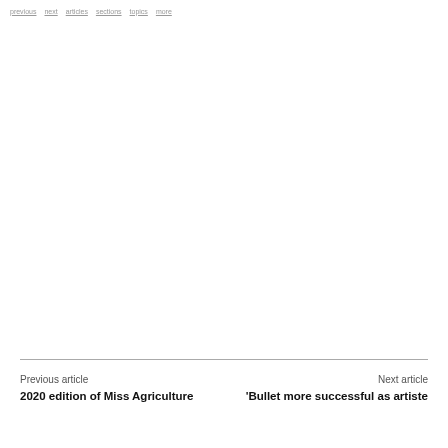Previous article | Next article | ... (navigation links)
Previous article
2020 edition of Miss Agriculture

Next article
'Bullet more successful as artiste